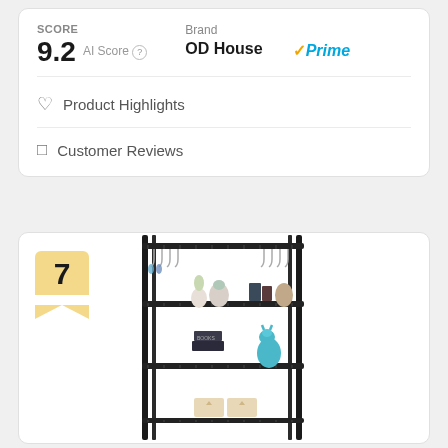SCORE
9.2 AI Score
Brand
OD House
✓Prime
♡ Product Highlights
☐ Customer Reviews
7
[Figure (photo): A black wire shelving unit with 5 tiers. The top shelf has hanging wine glass holders. The second shelf has decorative vases and books. The third shelf has books and a blue giraffe figurine. The bottom visible shelf has storage boxes.]